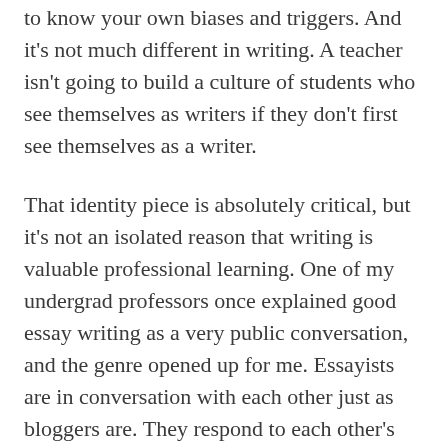to know your own biases and triggers. And it's not much different in writing. A teacher isn't going to build a culture of students who see themselves as writers if they don't first see themselves as a writer.
That identity piece is absolutely critical, but it's not an isolated reason that writing is valuable professional learning. One of my undergrad professors once explained good essay writing as a very public conversation, and the genre opened up for me. Essayists are in conversation with each other just as bloggers are. They respond to each other's ideas and resources, and they adjust to each other's style and feedback.
Being part of a wider writing community, no matter what the genre, means that you're engaging in this